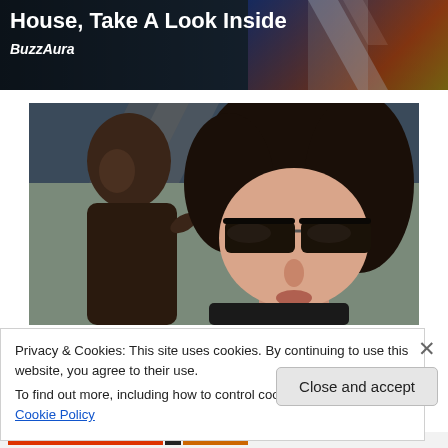[Figure (photo): Top banner with dark background showing partial image. White bold text reads 'House, Take A Look Inside' and italic bold text 'BuzzAura' below.]
[Figure (photo): Main photo of a woman wearing large dark sunglasses with long dark hair, and a young child beside her. Outdoor candid photo.]
Privacy & Cookies: This site uses cookies. By continuing to use this website, you agree to their use.
To find out more, including how to control cookies, see here: Cookie Policy
Close and accept